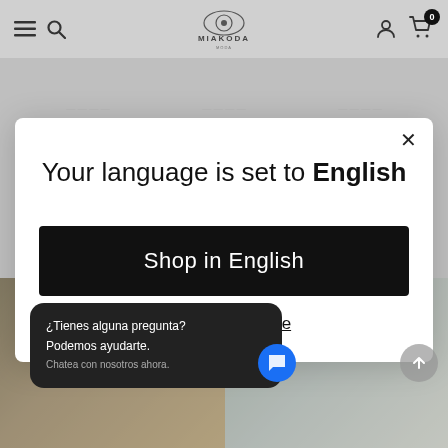MIAKODA — navigation bar with hamburger menu, search, logo, account, cart (0)
Your language is set to English
Shop in English
Change language
¿Tienes alguna pregunta? Podemos ayudarte. Chatea con nosotros ahora.
[Figure (screenshot): Miakoda fashion e-commerce website with language selection modal dialog. Modal reads 'Your language is set to English' with black 'Shop in English' button and 'Change language' link. Background shows clothing product images. Chat bubble in Spanish.]